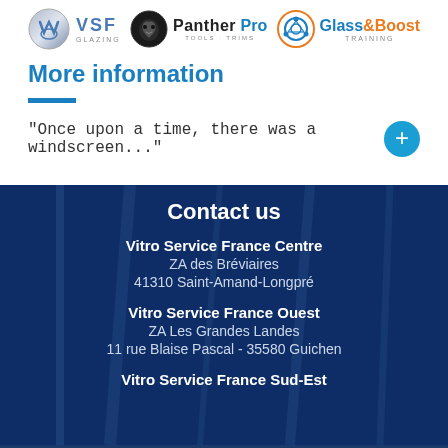[Figure (logo): Three logos: VSF Glazing, Panther Pro Tools Trims, Glass & Boost Training]
More information
"Once upon a time, there was a windscreen..."
Contact us
Vitro Service France Centre
ZA des Bréviaires
41310 Saint-Amand-Longpré
Vitro Service France Ouest
ZA Les Grandes Landes
11 rue Blaise Pascal - 35580 Guichen
Vitro Service France Sud-Est